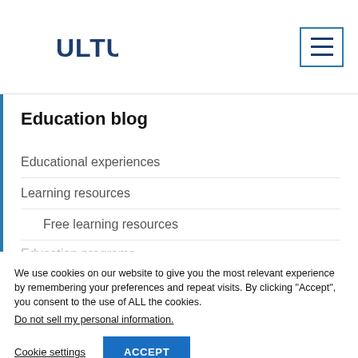[Figure (logo): Cultus logo: teal crescent C shape with CULTUS text in dark navy]
[Figure (other): Hamburger menu icon in teal bordered box]
Education blog
Educational experiences
Learning resources
Free learning resources
Education programs
We use cookies on our website to give you the most relevant experience by remembering your preferences and repeat visits. By clicking “Accept”, you consent to the use of ALL the cookies.
Do not sell my personal information.
Cookie settings
ACCEPT